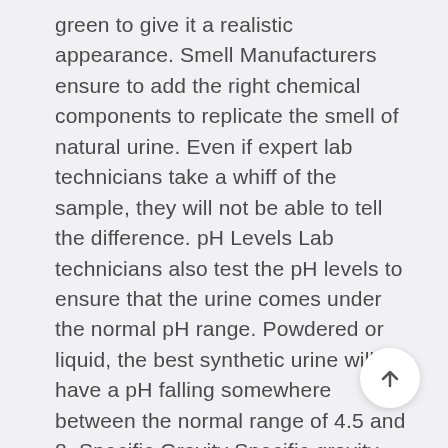green to give it a realistic appearance. Smell Manufacturers ensure to add the right chemical components to replicate the smell of natural urine. Even if expert lab technicians take a whiff of the sample, they will not be able to tell the difference. pH Levels Lab technicians also test the pH levels to ensure that the urine comes under the normal pH range. Powdered or liquid, the best synthetic urine will have a pH falling somewhere between the normal range of 4.5 and 8. Specific Gravity Specific gravity refers to the density of urine that is affected by how well kidneys are diluting the urine. There is a particular range of gravity (1.005 – 1.030) within which human urine normally lies. Synthetic urine is made,
[Figure (other): Circular scroll-to-top button with upward arrow on white circle background]